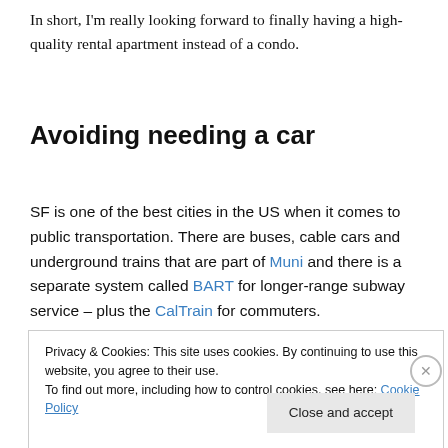In short, I'm really looking forward to finally having a high-quality rental apartment instead of a condo.
Avoiding needing a car
SF is one of the best cities in the US when it comes to public transportation. There are buses, cable cars and underground trains that are part of Muni and there is a separate system called BART for longer-range subway service – plus the CalTrain for commuters.
Privacy & Cookies: This site uses cookies. By continuing to use this website, you agree to their use.
To find out more, including how to control cookies, see here: Cookie Policy